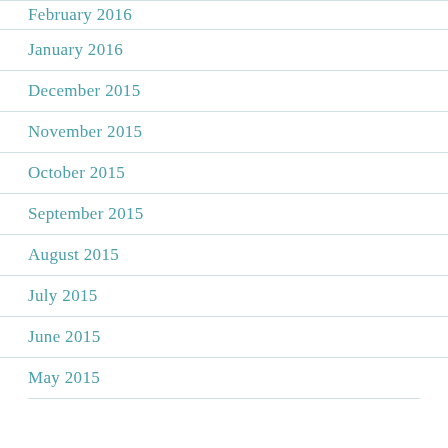February 2016
January 2016
December 2015
November 2015
October 2015
September 2015
August 2015
July 2015
June 2015
May 2015